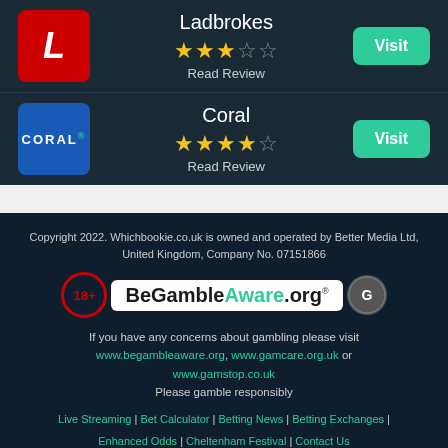| Logo | Name/Rating | Action |
| --- | --- | --- |
| Ladbrokes logo | Ladbrokes ★★★☆☆ Read Review | Visit |
| Coral logo | Coral ★★★★☆ Read Review | Visit |
Copyright 2022. Whichbookie.co.uk is owned and operated by Better Media Ltd, United Kingdom, Company No. 07151866
[Figure (logo): 18+ age restriction badge, BeGambleAware.org logo, and GamCare logo]
If you have any concerns about gambling please visit www.begambleaware.org, www.gamcare.org.uk or www.gamstop.co.uk Please gamble responsibly
Live Streaming | Bet Calculator | Betting News | Betting Exchanges | Enhanced Odds | Cheltenham Festival | Contact Us | Privacy Policy | Sitemap | Advertising Disclosure | Sports Betting | Free Bets